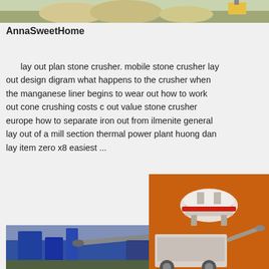[Figure (photo): Top strip showing industrial/quarry scene with sand piles and machinery]
AnnaSweetHome
lay out plan stone crusher. mobile stone crusher lay out design digram what happens to the crusher when the manganese liner begins to wear out how to work out cone crushing costs c out value stone crusher europe how to separate iron out from ilmenite general lay out of a mill section thermal power plant huong dan lay item zero x8 easiest ...
[Figure (photo): Sidebar panel showing industrial crushing/milling machines on orange background]
More
Get Price
huong dan lay
Email contact
ite
Enjoy 3% discount
Click to Chat
Enquiry
limingjlmofen@sina.com
cho
[Figure (photo): Bottom photo showing industrial crushing/conveyor equipment]